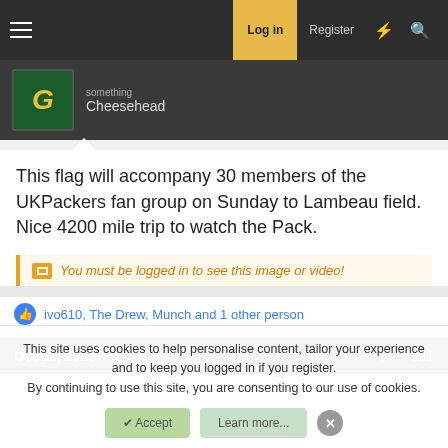Log in | Register
Cheesehead
This flag will accompany 30 members of the UKPackers fan group on Sunday to Lambeau field. Nice 4200 mile trip to watch the Pack.
You must be logged in to see this image or video!
Reply
ivo610, The Drew, Munch and 1 other person
Oct 13, 2015  #991
This site uses cookies to help personalise content, tailor your experience and to keep you logged in if you register.
By continuing to use this site, you are consenting to our use of cookies.
Accept | Learn more...